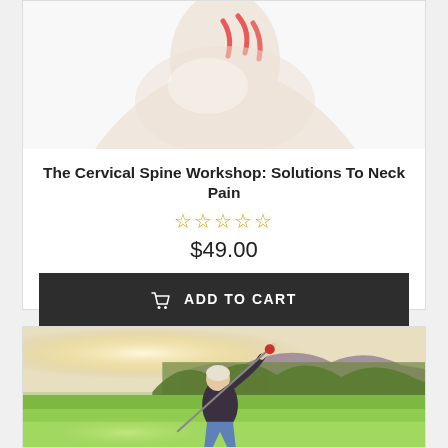[Figure (photo): Partial view of a shoulder/neck anatomy image with red highlights indicating pain area, white background]
The Cervical Spine Workshop: Solutions To Neck Pain
★★★★★ (empty stars rating)
$49.00
ADD TO CART
[Figure (photo): A woman golfer swinging a golf club on a golf course with green grass, trees, and a mountain in the background]